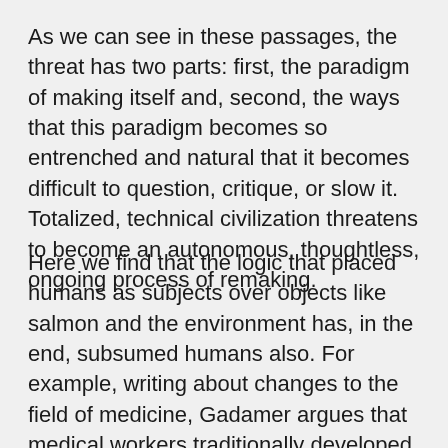As we can see in these passages, the threat has two parts: first, the paradigm of making itself and, second, the ways that this paradigm becomes so entrenched and natural that it becomes difficult to question, critique, or slow it. Totalized, technical civilization threatens to become an autonomous, thoughtless, ongoing process of remaking.
Here we find that the logic that placed humans as subjects over objects like salmon and the environment has, in the end, subsumed humans also. For example, writing about changes to the field of medicine, Gadamer argues that medical workers traditionally developed practical skills and practical intelligence that allowed them to have their own judgment and autonomy. But technocratic society makes this difficult because